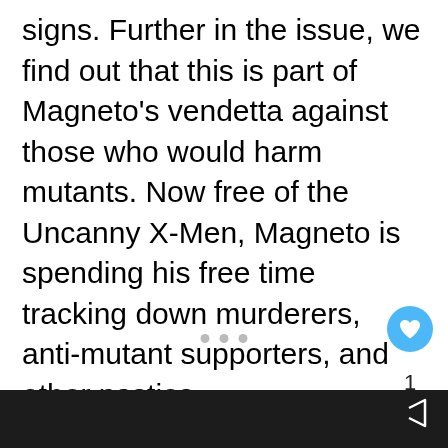signs. Further in the issue, we find out that this is part of Magneto's vendetta against those who would harm mutants. Now free of the Uncanny X-Men, Magneto is spending his free time tracking down murderers, anti-mutant supporters, and other nasties.
[Figure (other): White/light gray rectangular image placeholder area below the text]
1